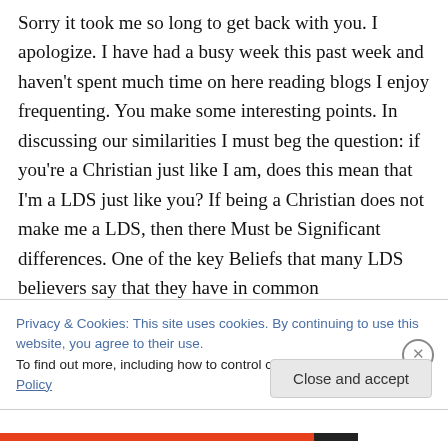Sorry it took me so long to get back with you. I apologize. I have had a busy week this past week and haven't spent much time on here reading blogs I enjoy frequenting. You make some interesting points. In discussing our similarities I must beg the question: if you're a Christian just like I am, does this mean that I'm a LDS just like you? If being a Christian does not make me a LDS, then there Must be Significant differences. One of the key Beliefs that many LDS believers say that they have in common
Privacy & Cookies: This site uses cookies. By continuing to use this website, you agree to their use.
To find out more, including how to control cookies, see here: Cookie Policy
Close and accept